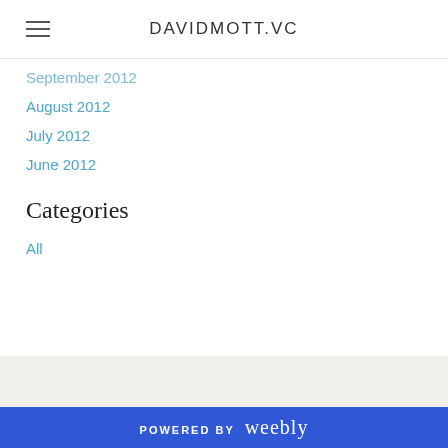DAVIDMOTT.VC
September 2012
August 2012
July 2012
June 2012
Categories
All
POWERED BY weebly